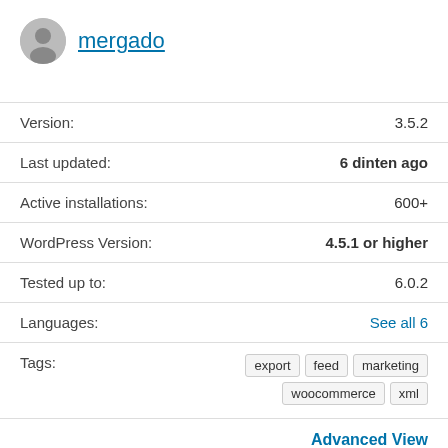mergado
Version: 3.5.2
Last updated: 6 dinten ago
Active installations: 600+
WordPress Version: 4.5.1 or higher
Tested up to: 6.0.2
Languages: See all 6
Tags: export feed marketing woocommerce xml
Advanced View